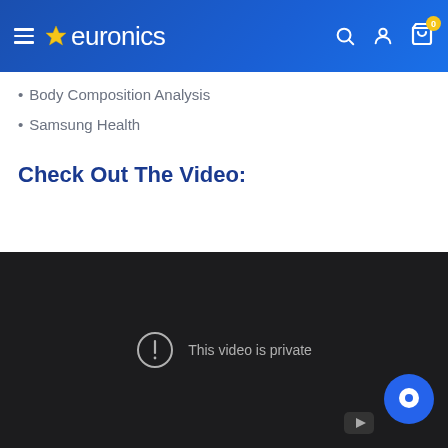euronics
Body Composition Analysis
Samsung Health
Check Out The Video:
[Figure (screenshot): Embedded video player showing 'This video is private' message on a dark background, with a chat bubble button and YouTube icon visible.]